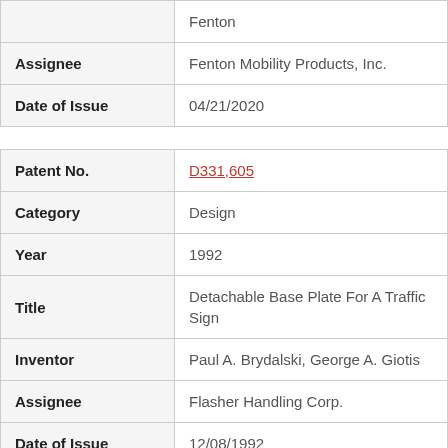|  | Fenton |
| Assignee | Fenton Mobility Products, Inc. |
| Date of Issue | 04/21/2020 |
| Patent No. | D331,605 |
| Category | Design |
| Year | 1992 |
| Title | Detachable Base Plate For A Traffic Sign |
| Inventor | Paul A. Brydalski, George A. Giotis |
| Assignee | Flasher Handling Corp. |
| Date of Issue | 12/08/1992 |